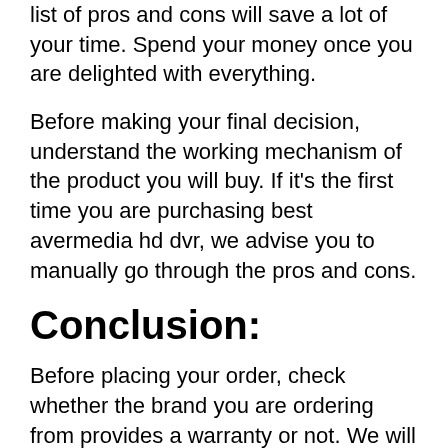list of pros and cons will save a lot of your time. Spend your money once you are delighted with everything.
Before making your final decision, understand the working mechanism of the product you will buy. If it's the first time you are purchasing best avermedia hd dvr, we advise you to manually go through the pros and cons.
Conclusion:
Before placing your order, check whether the brand you are ordering from provides a warranty or not. We will advise you to buy a product that has a contract. The customer care service of a brand speaks a lot about it.